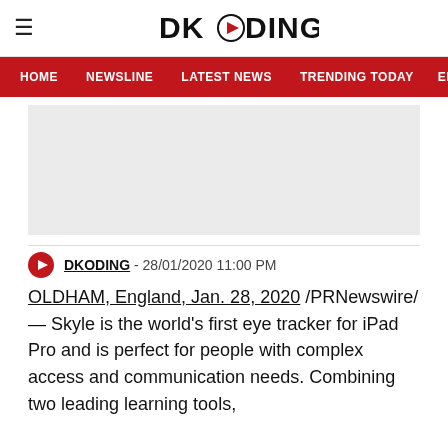DKODING
HOME  NEWSLINE  LATEST NEWS  TRENDING TODAY  ENT
[Figure (other): Advertisement placeholder area, light gray rectangle]
DKODING - 28/01/2020 11:00 PM
OLDHAM, England, Jan. 28, 2020 /PRNewswire/ — Skyle is the world's first eye tracker for iPad Pro and is perfect for people with complex access and communication needs. Combining two leading learning tools,